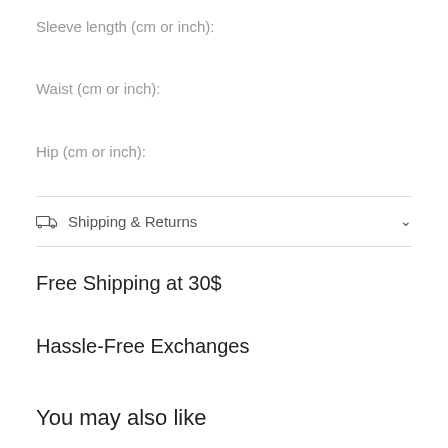Sleeve length (cm or inch):
Waist (cm or inch):
Hip (cm or inch):
Shipping & Returns
Free Shipping at 30$
Hassle-Free Exchanges
You may also like